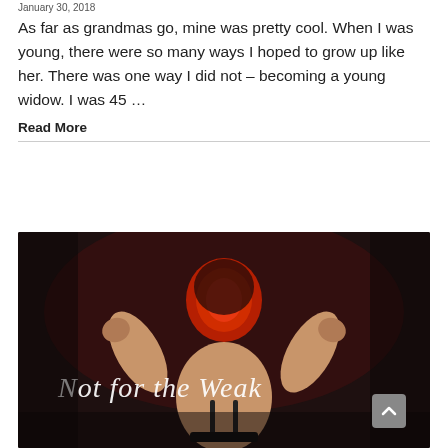January 30, 2018
As far as grandmas go, mine was pretty cool. When I was young, there were so many ways I hoped to grow up like her. There was one way I did not – becoming a young widow. I was 45 …
Read More
[Figure (photo): A woman seen from behind flexing her arms, with a red glow around her head/neck area, on a dark background. White italic cursive text overlaid reads 'Not for the Weak'.]